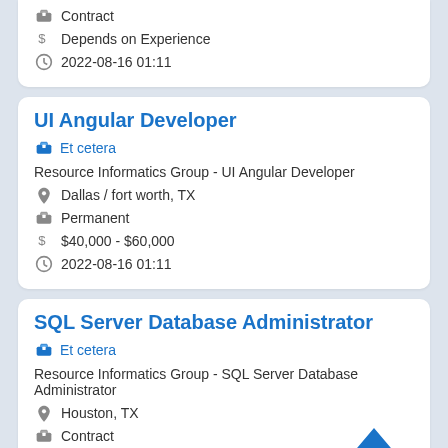Contract
Depends on Experience
2022-08-16 01:11
UI Angular Developer
Et cetera
Resource Informatics Group - UI Angular Developer
Dallas / fort worth, TX
Permanent
$40,000 - $60,000
2022-08-16 01:11
SQL Server Database Administrator
Et cetera
Resource Informatics Group - SQL Server Database Administrator
Houston, TX
Contract
$70 - $80
2022-08-16 01:11